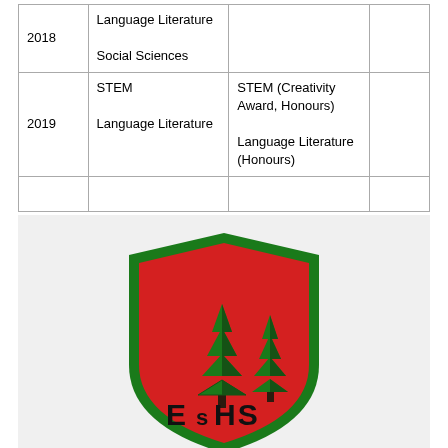|  |  |  |  |
| --- | --- | --- | --- |
| 2018 | Language Literature

Social Sciences |  |  |
| 2019 | STEM

Language Literature | STEM (Creativity Award, Honours)

Language Literature (Honours) |  |
|  |  |  |  |
[Figure (logo): School crest/shield logo: red shield with green border, featuring a crescent moon, two green pine trees, and the letters 'ESHS' at the bottom.]